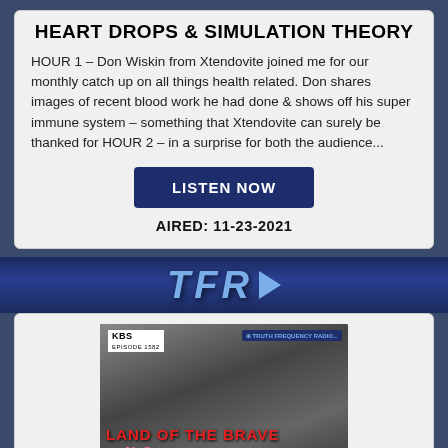HEART DROPS & SIMULATION THEORY
HOUR 1 – Don Wiskin from Xtendovite joined me for our monthly catch up on all things health related. Don shares images of recent blood work he had done & shows off his super immune system – something that Xtendovite can surely be thanked for HOUR 2 – in a surprise for both the audience...
LISTEN NOW
AIRED: 11-23-2021
[Figure (logo): TFR (Truth Frequency Radio) banner logo with arrow]
[Figure (photo): Episode thumbnail for Land of the Brave with NeSe - black and white image of people at a camp with teepee poles, overlaid with red title text and pink NeSe name]
EPISODE #1582
LAND OF THE GIANTS, HOME OF THE BRAVE W/NESE